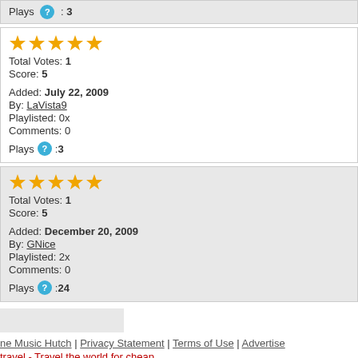Plays : 3
Total Votes: 1
Score: 5
Added: July 22, 2009
By: LaVista9
Playlisted: 0x
Comments: 0
Plays: 3
Total Votes: 1
Score: 5
Added: December 20, 2009
By: GNice
Playlisted: 2x
Comments: 0
Plays: 24
ne Music Hutch | Privacy Statement | Terms of Use | Advertise
travel - Travel the world for cheap
The Music Hutch. All Rights Reserved.